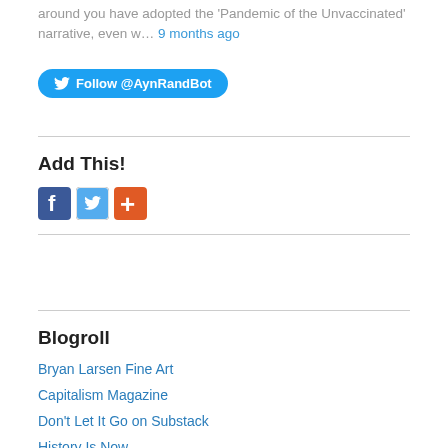around you have adopted the 'Pandemic of the Unvaccinated' narrative, even w… 9 months ago
[Figure (other): Twitter Follow @AynRandBot button]
Add This!
[Figure (other): Social sharing icons: Facebook, Twitter, Add This plus button]
Blogroll
Bryan Larsen Fine Art
Capitalism Magazine
Don't Let It Go on Substack
History Is Now
Hormones Demystified
Jihad Watch